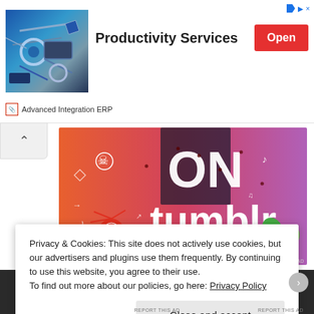[Figure (screenshot): Advertisement banner: machinery photo on left, 'Productivity Services' text in bold, red 'Open' button, 'Advanced Integration ERP' sponsor label below]
[Figure (screenshot): Tumblr promotional banner image with colorful orange-to-purple gradient background, 'ON tumblr' text, doodle illustrations of a sun/spider, leaves, skulls, music notes, hearts, and other whimsical drawings]
Privacy & Cookies: This site does not actively use cookies, but our advertisers and plugins use them frequently. By continuing to use this website, you agree to their use.
To find out more about our policies, go here: Privacy Policy
Close and accept